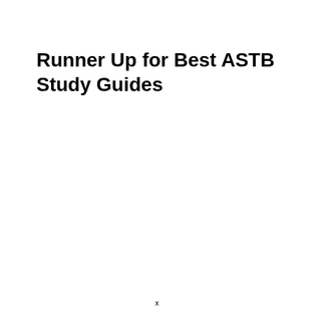Runner Up for Best ASTB Study Guides
x